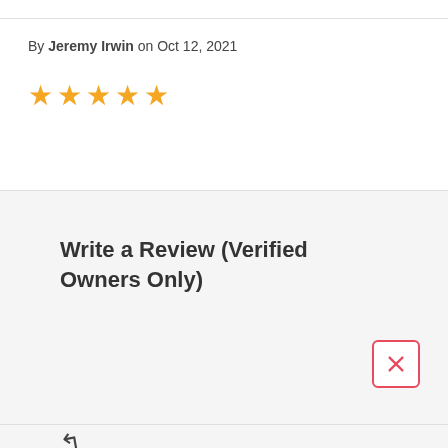By Jeremy Irwin on Oct 12, 2021
[Figure (other): Five gold star rating icons]
Write a Review (Verified Owners Only)
[Figure (other): Close/dismiss button with red X icon]